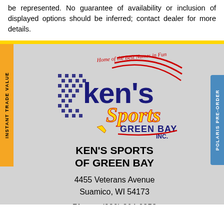be represented. No guarantee of availability or inclusion of displayed options should be inferred; contact dealer for more details.
[Figure (logo): Ken's Sports Green Bay Inc. logo with racing checkered flag motif, tagline 'Home of the Best Names in Fun', bold blue and red lettering with yellow accent on 'Sports']
KEN'S SPORTS OF GREEN BAY
4455 Veterans Avenue
Suamico, WI 54173
Phone: (920) 264-0858